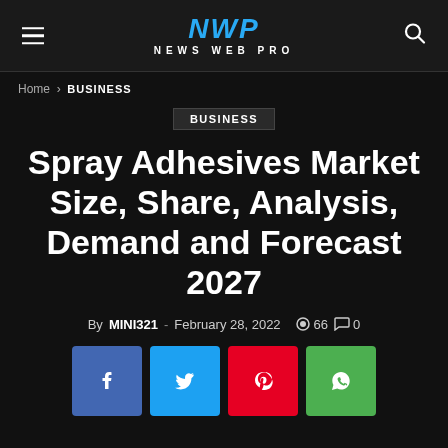NWP NEWS WEB PRO
Home › BUSINESS
BUSINESS
Spray Adhesives Market Size, Share, Analysis, Demand and Forecast 2027
By MINI321 - February 28, 2022  66  0
[Figure (infographic): Social share buttons: Facebook (blue), Twitter (cyan), Pinterest (red), WhatsApp (green)]